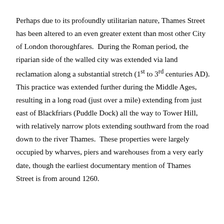Perhaps due to its profoundly utilitarian nature, Thames Street has been altered to an even greater extent than most other City of London thoroughfares.  During the Roman period, the riparian side of the walled city was extended via land reclamation along a substantial stretch (1st to 3rd centuries AD). This practice was extended further during the Middle Ages, resulting in a long road (just over a mile) extending from just east of Blackfriars (Puddle Dock) all the way to Tower Hill, with relatively narrow plots extending southward from the road down to the river Thames.  These properties were largely occupied by wharves, piers and warehouses from a very early date, though the earliest documentary mention of Thames Street is from around 1260.